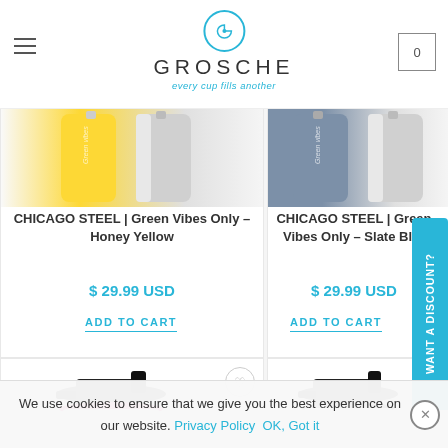[Figure (screenshot): GROSCHE logo with circular G icon and tagline 'every cup fills another']
[Figure (photo): CHICAGO STEEL Green Vibes Only Honey Yellow water bottle product image]
CHICAGO STEEL | Green Vibes Only – Honey Yellow
$ 29.99 USD
ADD TO CART
[Figure (photo): CHICAGO STEEL Green Vibes Only Slate Blue water bottle product image]
CHICAGO STEEL | Green Vibes Only – Slate Bl...
$ 29.99 USD
ADD TO CART
[Figure (photo): Bottom product card left - black lid water bottle with pink accent]
[Figure (photo): Bottom product card right - black lid water bottle]
WANT A DISCOUNT?
We use cookies to ensure that we give you the best experience on our website. Privacy Policy  OK, Got it